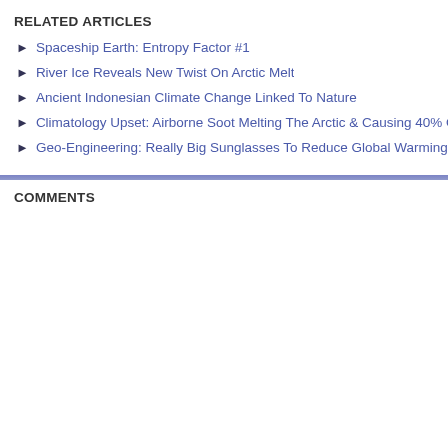RELATED ARTICLES
Spaceship Earth: Entropy Factor #1
River Ice Reveals New Twist On Arctic Melt
Ancient Indonesian Climate Change Linked To Nature
Climatology Upset: Airborne Soot Melting The Arctic & Causing 40% Of A
Geo-Engineering: Really Big Sunglasses To Reduce Global Warming
COMMENTS